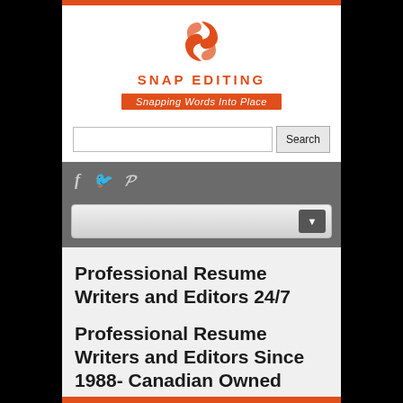[Figure (logo): Snap Editing logo with orange swirl icon, red-orange text 'SNAP EDITING', and orange tagline banner 'Snapping Words Into Place']
[Figure (screenshot): Search bar with text input and Search button]
[Figure (screenshot): Dark grey navigation bar with Facebook, Twitter, and Pinterest social icons, and a dropdown navigation bar below]
Professional Resume Writers and Editors 24/7
Professional Resume Writers and Editors Since 1988- Canadian Owned
Home » NOC